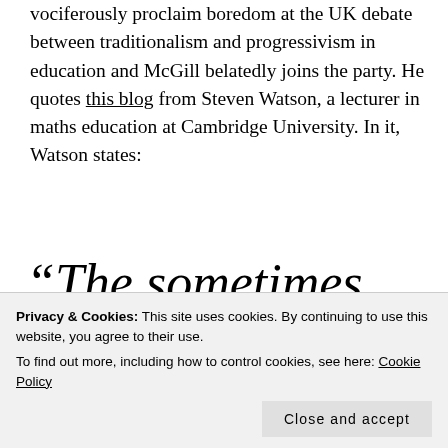vociferously proclaim boredom at the UK debate between traditionalism and progressivism in education and McGill belatedly joins the party. He quotes this blog from Steven Watson, a lecturer in maths education at Cambridge University. In it, Watson states:
“The sometimes furious debates on twitter over
false dichotomy
Privacy & Cookies: This site uses cookies. By continuing to use this website, you agree to their use.
To find out more, including how to control cookies, see here: Cookie Policy
Close and accept